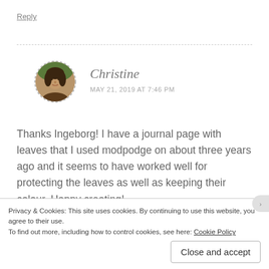Reply
[Figure (photo): Circular avatar photo of Christine, a woman with dark hair, bordered by a dashed circle]
Christine
MAY 21, 2019 AT 7:46 PM
Thanks Ingeborg! I have a journal page with leaves that I used modpodge on about three years ago and it seems to have worked well for protecting the leaves as well as keeping their colour. Happy creating!
Privacy & Cookies: This site uses cookies. By continuing to use this website, you agree to their use.
To find out more, including how to control cookies, see here: Cookie Policy
Close and accept